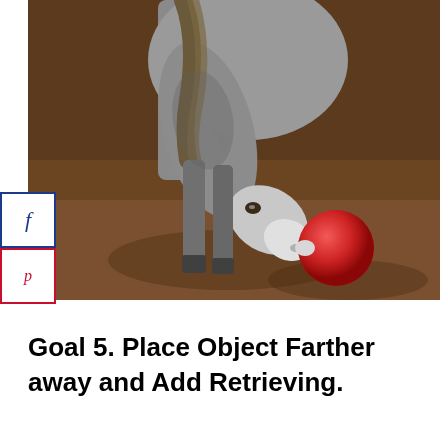[Figure (photo): A gray/white horse bending its head down toward a large red ball on a brown dirt ground, as if playing with or nudging the ball with its nose.]
Goal 5. Place Object Farther away and Add Retrieving.